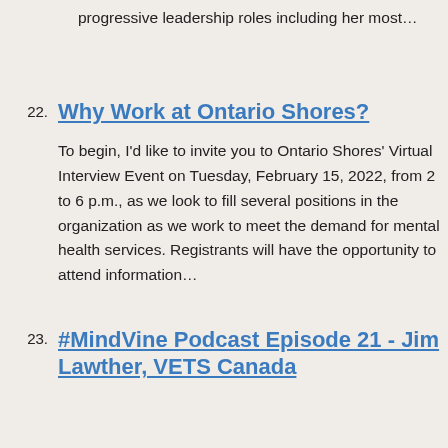progressive leadership roles including her most…
22. Why Work at Ontario Shores?
To begin, I'd like to invite you to Ontario Shores' Virtual Interview Event on Tuesday, February 15, 2022, from 2 to 6 p.m., as we look to fill several positions in the organization as we work to meet the demand for mental health services. Registrants will have the opportunity to attend information…
23. #MindVine Podcast Episode 21 - Jim Lawther, VETS Canada